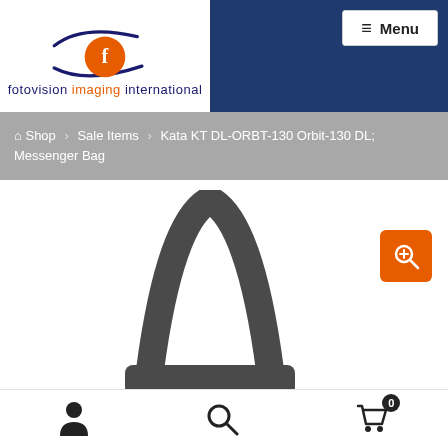[Figure (logo): Fotovision Imaging International logo with stylized eye/camera icon in navy blue and orange]
fotovision imaging international
≡ Menu
🏠 Shop › Sale Items › Kata KT DL-ORBT-130 Orbit-130 DL; Messenger Bag
[Figure (photo): Kata messenger bag shown from the front, dark gray/charcoal color, shoulder strap visible at top]
[Figure (other): Orange zoom/magnify button icon in bottom right of product image]